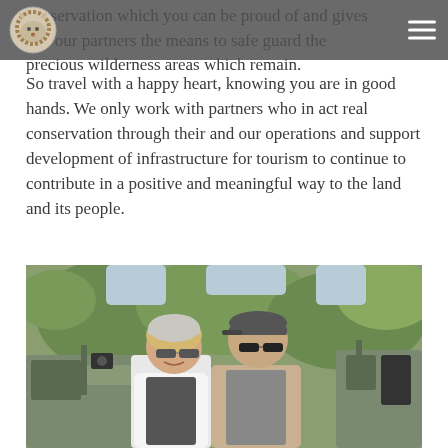conservation which you can be proud of and gives and our partners the means to safe guard the precious wilderness areas which remain.
So travel with a happy heart, knowing you are in good hands. We only work with partners who in act real conservation through their and our operations and support development of infrastructure for tourism to continue to contribute in a positive and meaningful way to the land and its people.
[Figure (photo): Two people wearing sunglasses standing in front of a safari vehicle with trees and green foliage in the background. The woman on the left wears a white jacket and knit hat; the man on the right wears a tan fleece jacket.]